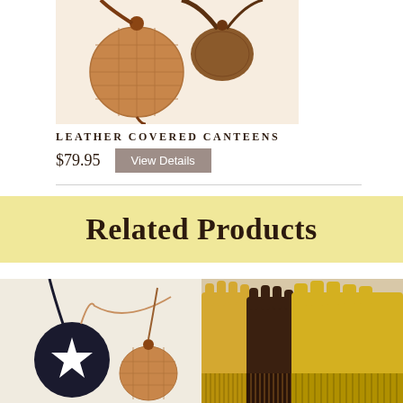[Figure (photo): Leather covered canteens product photo - circular woven leather canteens with brown leather straps on cream background]
Leather Covered Canteens
$79.95
View Details
Related Products
[Figure (photo): Two small round canteens - one black with a star, one brown woven - with leather straps]
[Figure (photo): Collection of leather gloves in tan/brown/yellow colors with fringe trim]